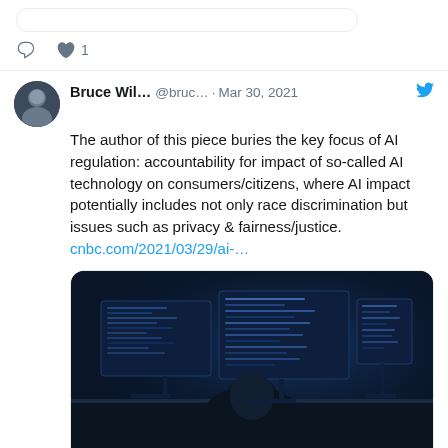[Figure (screenshot): Top of a previous tweet showing a rounded rectangle stub and engagement icons: comment icon and heart icon with count 1]
Bruce Wil... @bruc... · Mar 30, 2021
The author of this piece buries the key focus of AI regulation: accountability for impact of so-called AI technology on consumers/citizens, where AI impact potentially includes not only race discrimination but issues such as privacy & fairness/justice. cnbc.com/2021/03/29/ai-…
[Figure (photo): Dark photo of a person sitting at a desk viewed from behind, looking at multiple computer monitors displaying code or data in blue tones]
cnbc.com
A.I. researchers urge regulators not to